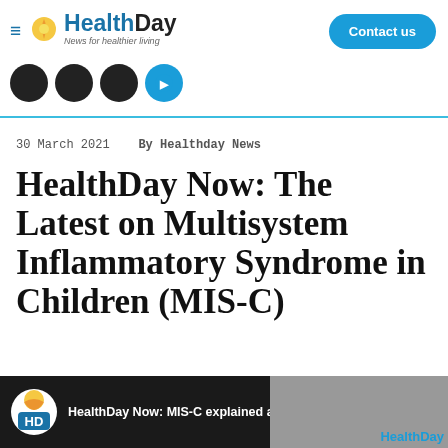HealthDay — News for healthier living | Contact us
[Figure (logo): HealthDay logo with sun icon, hamburger menu, and social media icons (Facebook, Twitter, Instagram, YouTube)]
30 March 2021   By Healthday News
HealthDay Now: The Latest on Multisystem Inflammatory Syndrome in Children (MIS-C)
[Figure (screenshot): Video thumbnail bar showing HealthDay HD logo and text 'HealthDay Now: MIS-C explained and o...' with HealthDay branding]